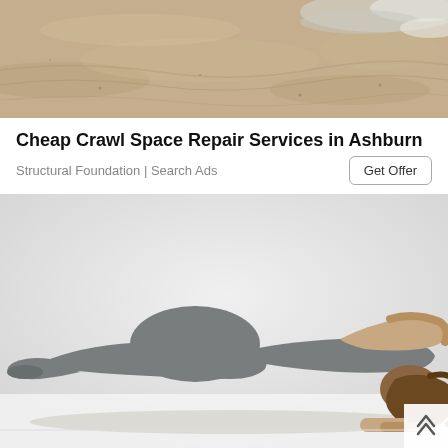[Figure (photo): Close-up photo of sand on a beach with water/foam visible in the upper right corner]
Cheap Crawl Space Repair Services in Ashburn
Structural Foundation | Search Ads
[Figure (photo): Woman in gray athletic wear (sports bra and leggings) performing a plank exercise on a white floor against a light gray background]